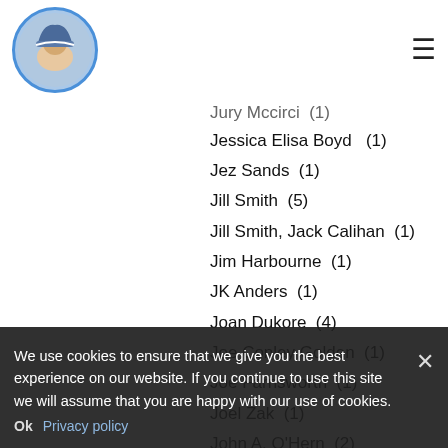[logo image] [hamburger menu icon]
Jessica Elisa Boyd  (1)
Jez Sands  (1)
Jill Smith  (5)
Jill Smith, Jack Calihan  (1)
Jim Harbourne  (1)
JK Anders  (1)
Joan Dukore  (4)
Joe Conley Golden  (1)
Joe Farnsworth  (1)
Joel Zak  (1)
John A. O'Hern  (2)
John E. Broussard  (1)
John Fleming  (2)
John G. Tanner  (1)
John Joseph Rogers  (2)
John Tanner  (3)
Johnnie C. Hayes  (2)
Johnny Renners  (10)
We use cookies to ensure that we give you the best experience on our website. If you continue to use this site we will assume that you are happy with our use of cookies.